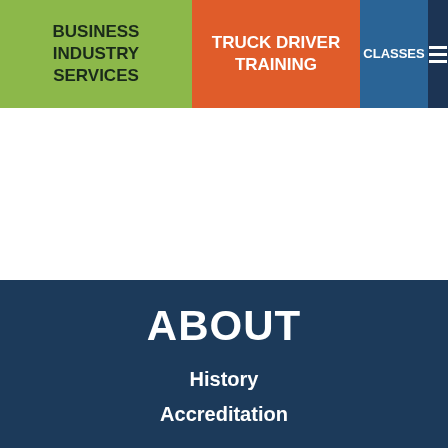BUSINESS INDUSTRY SERVICES
TRUCK DRIVER TRAINING
CLASSES
ABOUT
History
Accreditation